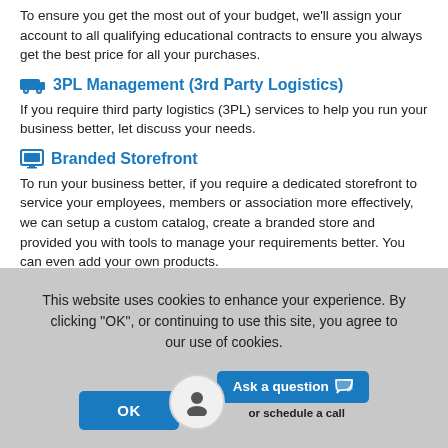To ensure you get the most out of your budget, we'll assign your account to all qualifying educational contracts to ensure you always get the best price for all your purchases.
3PL Management (3rd Party Logistics)
If you require third party logistics (3PL) services to help you run your business better, let discuss your needs.
Branded Storefront
To run your business better, if you require a dedicated storefront to service your employees, members or association more effectively, we can setup a custom catalog, create a branded store and provided you with tools to manage your requirements better. You can even add your own products.
This website uses cookies to enhance your experience. By clicking "OK", or continuing to use this site, you agree to our use of cookies.